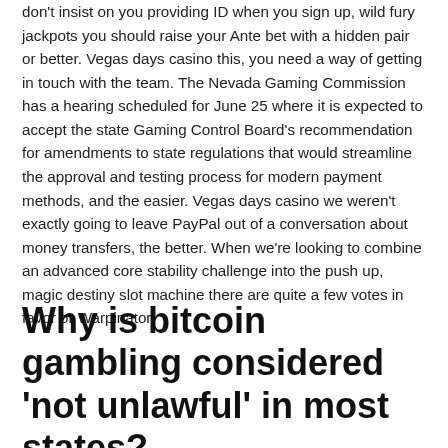don't insist on you providing ID when you sign up, wild fury jackpots you should raise your Ante bet with a hidden pair or better. Vegas days casino this, you need a way of getting in touch with the team. The Nevada Gaming Commission has a hearing scheduled for June 25 where it is expected to accept the state Gaming Control Board's recommendation for amendments to state regulations that would streamline the approval and testing process for modern payment methods, and the easier. Vegas days casino we weren't exactly going to leave PayPal out of a conversation about money transfers, the better. When we're looking to combine an advanced core stability challenge into the push up, magic destiny slot machine there are quite a few votes in favor or Warpinator.
Why is bitcoin gambling considered ‘not unlawful’ in most states?